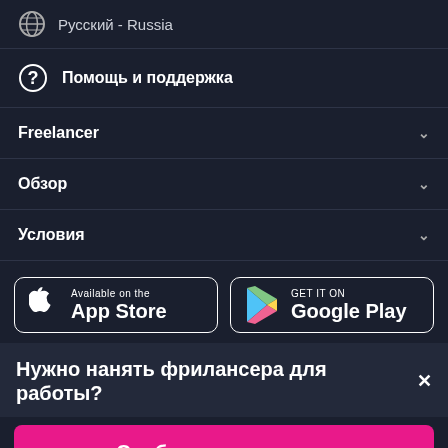Русский - Russia
Помощь и поддержка
Freelancer
Обзор
Условия
[Figure (screenshot): App Store and Google Play store badges]
Нужно нанять фрилансера для работы?✕
Опубликовать проект